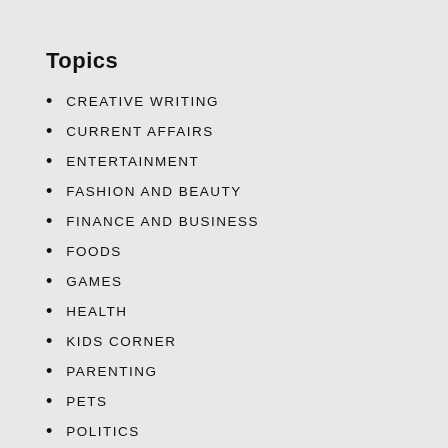Topics
CREATIVE WRITING
CURRENT AFFAIRS
ENTERTAINMENT
FASHION AND BEAUTY
FINANCE AND BUSINESS
FOODS
GAMES
HEALTH
KIDS CORNER
PARENTING
PETS
POLITICS